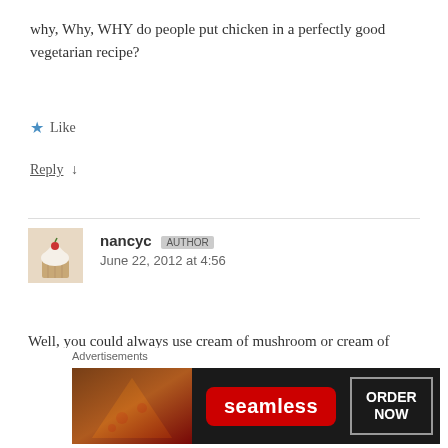why, Why, WHY do people put chicken in a perfectly good vegetarian recipe?
★ Like
Reply ↓
nancyc — June 22, 2012 at 4:56
Well, you could always use cream of mushroom or cream of celery soup-either would work great, I'm sure!
[Figure (screenshot): Seamless food ordering advertisement banner with pizza image, Seamless logo in red, and ORDER NOW button]
Advertisements